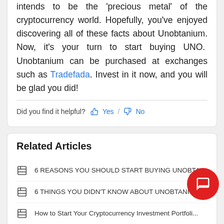intends to be the 'precious metal' of the cryptocurrency world. Hopefully, you've enjoyed discovering all of these facts about Unobtanium. Now, it's your turn to start buying UNO. Unobtanium can be purchased at exchanges such as Tradefada. Invest in it now, and you will be glad you did!
Did you find it helpful? Yes / No
Related Articles
6 REASONS YOU SHOULD START BUYING UNOBTANIUM
6 THINGS YOU DIDN'T KNOW ABOUT UNOBTANIUM [UNO...
How to Start Your Cryptocurrency Investment Portfoli...
5 ALTCOINS YOU SHOULD BE BUYING